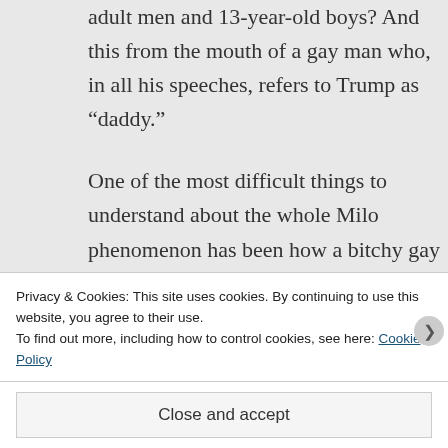adult men and 13-year-old boys? And this from the mouth of a gay man who, in all his speeches, refers to Trump as “daddy.”
One of the most difficult things to understand about the whole Milo phenomenon has been how a bitchy gay queen like Milo can sashay his way into right-wing
Privacy & Cookies: This site uses cookies. By continuing to use this website, you agree to their use.
To find out more, including how to control cookies, see here: Cookie Policy
Close and accept